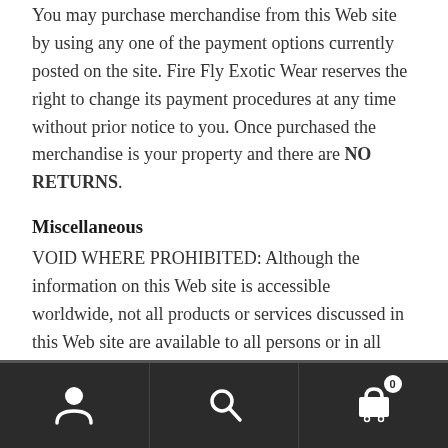You may purchase merchandise from this Web site by using any one of the payment options currently posted on the site. Fire Fly Exotic Wear reserves the right to change its payment procedures at any time without prior notice to you. Once purchased the merchandise is your property and there are NO RETURNS.
Miscellaneous
VOID WHERE PROHIBITED: Although the information on this Web site is accessible worldwide, not all products or services discussed in this Web site are available to all persons or in all geographic locations or jurisdictions. Fire Fly Exotic Wear and the advertisers each reserve the right to limit the provision of their products or services to any person, geographic area, or jurisdiction, and to limit the quantities of...
Navigation bar with user, search, and cart icons